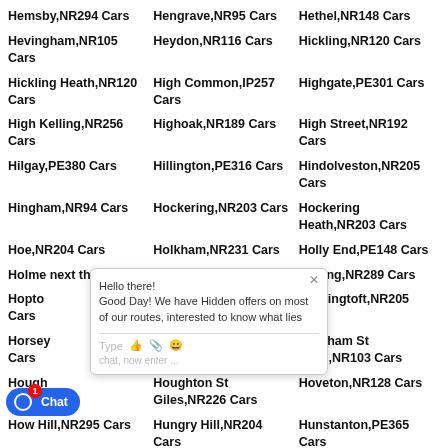Hemsby,NR294 Cars
Hengrave,NR95 Cars
Hethel,NR148 Cars
Hevingham,NR105 Cars
Heydon,NR116 Cars
Hickling,NR120 Cars
Hickling Heath,NR120 Cars
High Common,IP257 Cars
Highgate,PE301 Cars
High Kelling,NR256 Cars
Highoak,NR189 Cars
High Street,NR192 Cars
Hilgay,PE380 Cars
Hillington,PE316 Cars
Hindolveston,NR205 Cars
Hingham,NR94 Cars
Hockering,NR203 Cars
Hockering Heath,NR203 Cars
Hoe,NR204 Cars
Holkham,NR231 Cars
Holly End,PE148 Cars
Holme next the Sea,PE Cars
Holt,NR256 Cars
Honing,NR289 Cars
Hopton Cars
Horning,NR128 Cars
Horningtoft,NR205 Cars
Horsey Cars
Horsford,NR103 Cars
Horsham St Faith,NR103 Cars
Hough Cars
Houghton St Giles,NR226 Cars
Hoveton,NR128 Cars
How Hill,NR295 Cars
Hungry Hill,NR204 Cars
Hunstanton,PE365 Cars